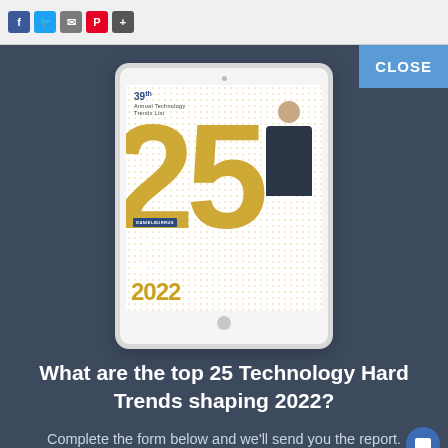[Figure (screenshot): Social media sharing icons: Facebook, Twitter, Email, Pinterest, Plus]
[Figure (illustration): Tablet displaying book cover: 39th Annual Technology Trends List, TOP 25 TECHNOLOGY HARD TRENDS SHAPING 2022, with a person standing next to a large gold 25]
What are the top 25 Technology Hard Trends shaping 2022?
Complete the form below and we'll send you the report.
[Figure (screenshot): Blue close button in top right corner labeled CLOSE]
[Figure (screenshot): Blue chat bubble icon in lower right]